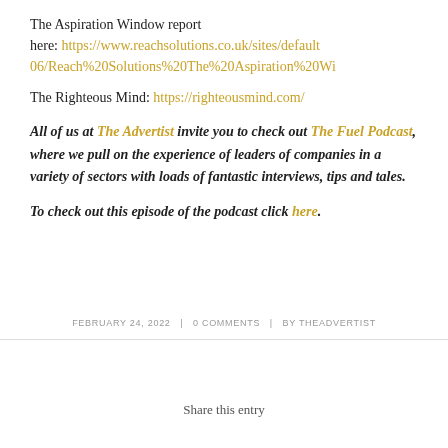The Aspiration Window report here: https://www.reachsolutions.co.uk/sites/default06/Reach%20Solutions%20The%20Aspiration%20Wi
The Righteous Mind: https://righteousmind.com/
All of us at The Advertist invite you to check out The Fuel Podcast, where we pull on the experience of leaders of companies in a variety of sectors with loads of fantastic interviews, tips and tales.
To check out this episode of the podcast click here.
FEBRUARY 24, 2022   0 COMMENTS   BY THEADVERTIST
Share this entry